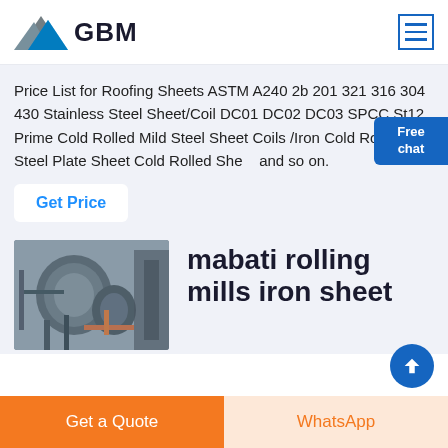[Figure (logo): GBM company logo with blue/grey mountain graphic and bold GBM text]
Price List for Roofing Sheets ASTM A240 2b 201 321 316 304 430 Stainless Steel Sheet/Coil DC01 DC02 DC03 SPCC St12 Prime Cold Rolled Mild Steel Sheet Coils /Iron Cold Rolled Steel Plate Sheet Cold Rolled Sheet and so on.
Get Price
[Figure (photo): Industrial steel rolling mill machinery with large pipes and equipment]
mabati rolling mills iron sheet
Get a Quote
WhatsApp